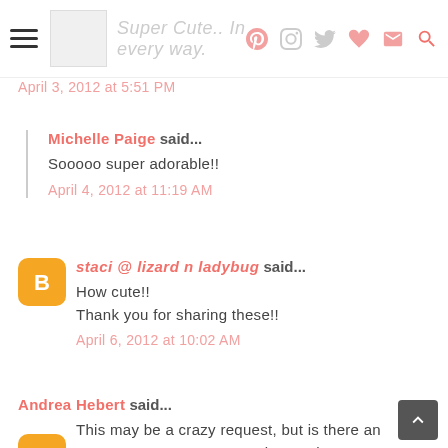Super Cute.. In every way.
April 3, 2012 at 5:51 PM
Michelle Paige said...
Sooooo super adorable!!
April 4, 2012 at 11:19 AM
staci @ lizard n ladybug said...
How cute!!
Thank you for sharing these!!
April 6, 2012 at 10:02 AM
Andrea Hebert said...
This may be a crazy request, but is there any way I can get a custom saying on these? Or a